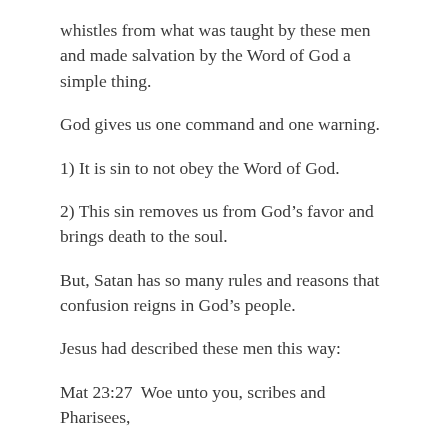whistles from what was taught by these men and made salvation by the Word of God a simple thing.
God gives us one command and one warning.
1) It is sin to not obey the Word of God.
2) This sin removes us from God’s favor and brings death to the soul.
But, Satan has so many rules and reasons that confusion reigns in God’s people.
Jesus had described these men this way:
Mat 23:27  Woe unto you, scribes and Pharisees,